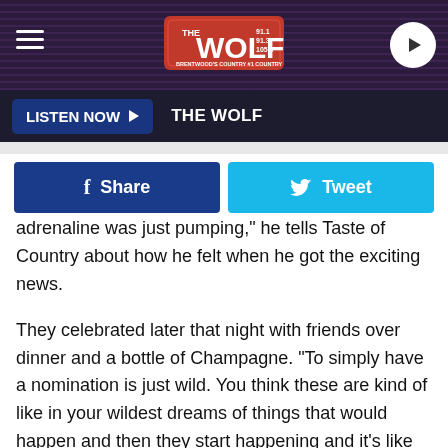THE WOLF — LISTEN NOW
[Figure (logo): The Wolf radio station logo with frequencies 91.1, 91.3, 105.5]
LISTEN NOW  THE WOLF
Share   Tweet
adrenaline was just pumping," he tells Taste of Country about how he felt when he got the exciting news.
They celebrated later that night with friends over dinner and a bottle of Champagne. "To simply have a nomination is just wild. You think these are kind of like in your wildest dreams of things that would happen and then they start happening and it's like 'wow, it's really not that far out of reach.'"
It's that message T.J. hopes to instill in other artists working to reach these same heights, hoping they'll see that endless